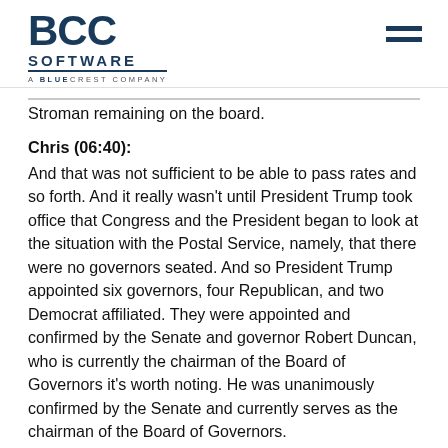[Figure (logo): BCC Software - A BlueCrest Company logo in dark navy blue]
Stroman remaining on the board.
Chris (06:40):
And that was not sufficient to be able to pass rates and so forth. And it really wasn't until President Trump took office that Congress and the President began to look at the situation with the Postal Service, namely, that there were no governors seated. And so President Trump appointed six governors, four Republican, and two Democrat affiliated. They were appointed and confirmed by the Senate and governor Robert Duncan, who is currently the chairman of the Board of Governors it's worth noting. He was unanimously confirmed by the Senate and currently serves as the chairman of the Board of Governors.